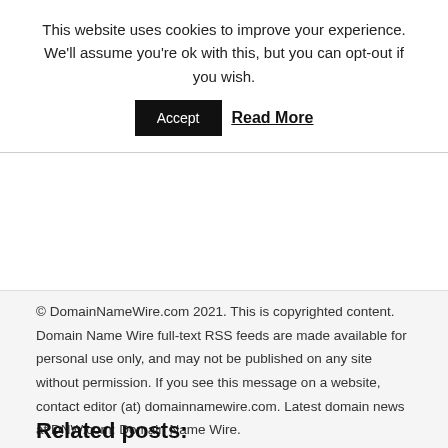This website uses cookies to improve your experience. We'll assume you're ok with this, but you can opt-out if you wish.
Accept  Read More
© DomainNameWire.com 2021. This is copyrighted content. Domain Name Wire full-text RSS feeds are made available for personal use only, and may not be published on any site without permission. If you see this message on a website, contact editor (at) domainnamewire.com. Latest domain news at DNW.com: Domain Name Wire.
Related posts: